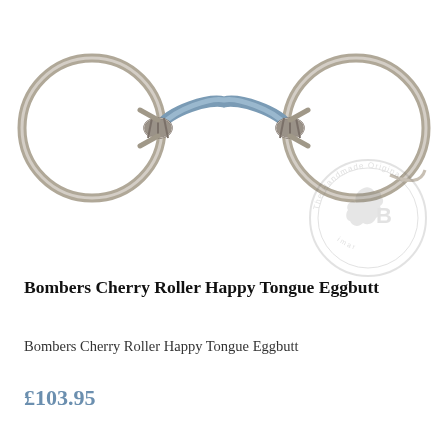[Figure (photo): Photo of a Bombers Cherry Roller Happy Tongue Eggbutt horse bit — a stainless steel bit with two large O-rings on each side connected by a blue-tinted curved mouthpiece with barrel rollers at the joints. A circular 'The Handmade Original' watermark/logo with a horse head silhouette and 'B' letter is visible in the lower right of the image area.]
Bombers Cherry Roller Happy Tongue Eggbutt
Bombers Cherry Roller Happy Tongue Eggbutt
£103.95